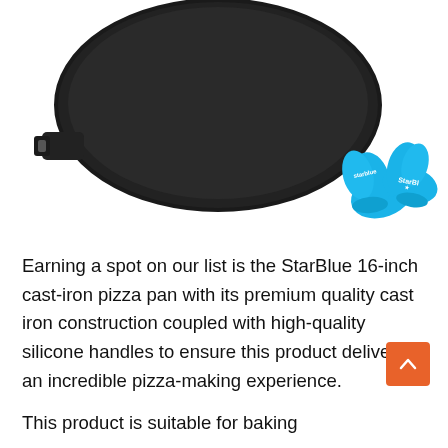[Figure (photo): Product photo of a StarBlue 16-inch cast-iron pizza pan (large round black pan with a handle on the left) alongside two blue silicone oven mitt finger protectors with the StarBlue logo, on a white background.]
Earning a spot on our list is the StarBlue 16-inch cast-iron pizza pan with its premium quality cast iron construction coupled with high-quality silicone handles to ensure this product delivers an incredible pizza-making experience.
This product is suitable for baking